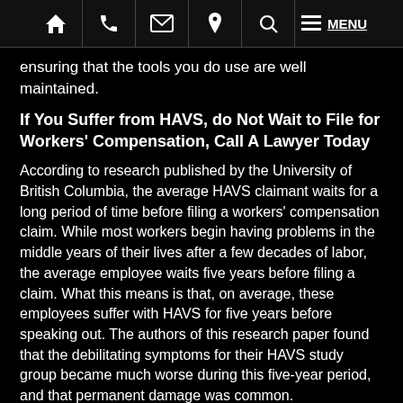🏠 📞 ✉ 📍 🔍 ≡ MENU
ensuring that the tools you do use are well maintained.
If You Suffer from HAVS, do Not Wait to File for Workers' Compensation, Call A Lawyer Today
According to research published by the University of British Columbia, the average HAVS claimant waits for a long period of time before filing a workers' compensation claim. While most workers begin having problems in the middle years of their lives after a few decades of labor, the average employee waits five years before filing a claim. What this means is that, on average, these employees suffer with HAVS for five years before speaking out. The authors of this research paper found that the debilitating symptoms for their HAVS study group became much worse during this five-year period, and that permanent damage was common.